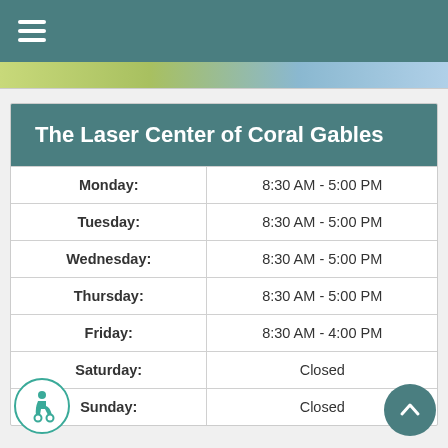Navigation menu bar
| The Laser Center of Coral Gables |  |
| --- | --- |
| Monday: | 8:30 AM - 5:00 PM |
| Tuesday: | 8:30 AM - 5:00 PM |
| Wednesday: | 8:30 AM - 5:00 PM |
| Thursday: | 8:30 AM - 5:00 PM |
| Friday: | 8:30 AM - 4:00 PM |
| Saturday: | Closed |
| Sunday: | Closed |